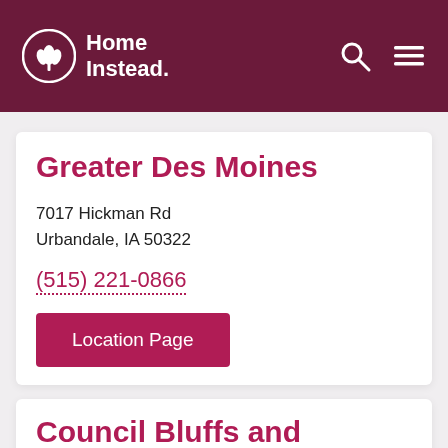Home Instead.
Greater Des Moines
7017 Hickman Rd
Urbandale, IA 50322
(515) 221-0866
Location Page
Council Bluffs and